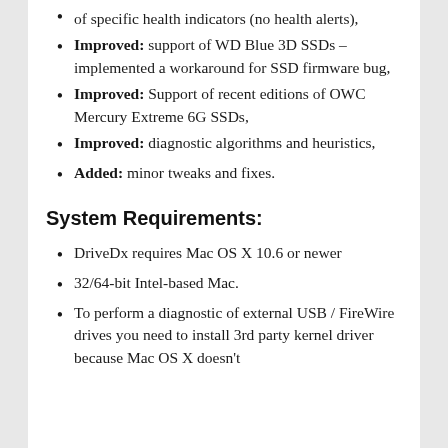of specific health indicators (no health alerts),
Improved: support of WD Blue 3D SSDs – implemented a workaround for SSD firmware bug,
Improved: Support of recent editions of OWC Mercury Extreme 6G SSDs,
Improved: diagnostic algorithms and heuristics,
Added: minor tweaks and fixes.
System Requirements:
DriveDx requires Mac OS X 10.6 or newer
32/64-bit Intel-based Mac.
To perform a diagnostic of external USB / FireWire drives you need to install 3rd party kernel driver because Mac OS X doesn't